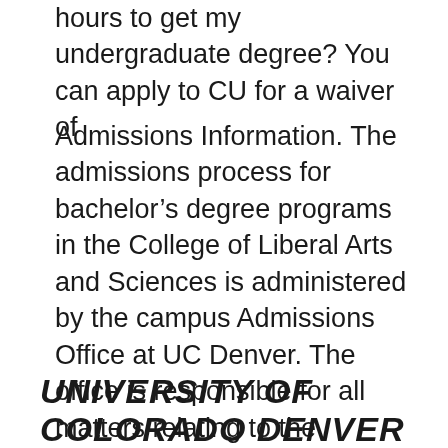hours to get my undergraduate degree? You can apply to CU for a waiver of
Admissions Information. The admissions process for bachelor’s degree programs in the College of Liberal Arts and Sciences is administered by the campus Admissions Office at UC Denver. The office is responsible for all matters relating to the admission of undergraduate students to the University. At CU Denver, we think about the meaning of Learn with Purpose in Catherine Wilson is director of Undergraduate Admissions. CU Denver Homepage; CU Anschutz
UNIVERSITY OF COLORADO DENVER